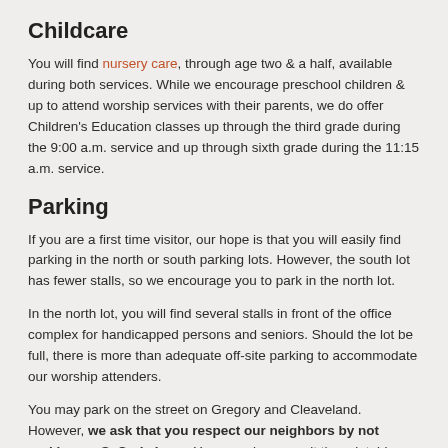Childcare
You will find nursery care, through age two & a half, available during both services. While we encourage preschool children & up to attend worship services with their parents, we do offer Children's Education classes up through the third grade during the 9:00 a.m. service and up through sixth grade during the 11:15 a.m. service.
Parking
If you are a first time visitor, our hope is that you will easily find parking in the north or south parking lots. However, the south lot has fewer stalls, so we encourage you to park in the north lot.
In the north lot, you will find several stalls in front of the office complex for handicapped persons and seniors. Should the lot be full, there is more than adequate off-site parking to accommodate our worship attenders.
You may park on the street on Gregory and Cleaveland. However, we ask that you respect our neighbors by not parking on S. Cody Lane. You can also consult the printable map  of the